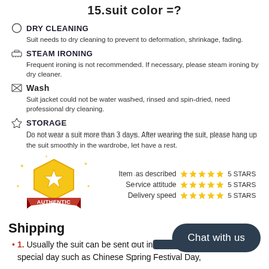15.suit color =?
DRY CLEANING
Suit needs to dry cleaning to prevent to deformation, shrinkage, fading.
STEAM IRONING
Frequent ironing is not recommended. If necessary, please steam ironing by dry cleaner.
Wash
Suit jacket could not be water washed, rinsed and spin-dried, need professional dry cleaning.
STORAGE
Do not wear a suit more than 3 days. After wearing the suit, please hang up the suit smoothly in the wardrobe, let have a rest.
[Figure (infographic): Gold authentic badge with red ribbon and star ratings showing Item as described 5 STARS, Service attitude 5 STARS, Delivery speed 5 STARS]
Shipping
1. Usually the suit can be sent out in ... the special day such as Chinese Spring Festival Day,